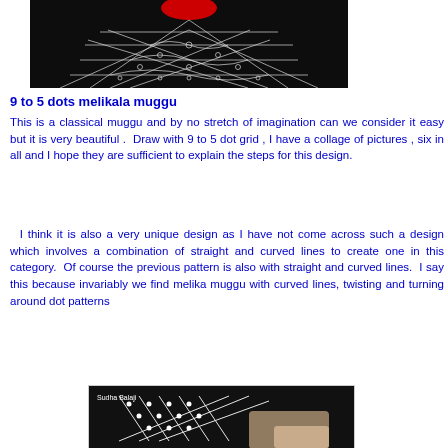[Figure (photo): Top portion of a muggu (kolam/rangoli) pattern on black background showing intricate white lace-like design with a red center, partially cropped]
9 to 5 dots melikala muggu
This is a classical muggu and by no stretch of imagination can we consider it easy but it is very beautiful . Draw with 9 to 5 dot grid , I have a collage of pictures , six in all and I hope they are sufficient to explain the steps for this design.
I think it is also a very unique design as I have not come across such a design which involves a combination of straight and curved lines to create one in this category. Of course the previous pattern is also with straight and curved lines. I say this because invariably we find melika muggu with curved lines, twisting and turning around dot patterns
[Figure (photo): Bottom image showing hands drawing a muggu/kolam pattern with dots on black background, with text 'Sudha Balaji' watermark]